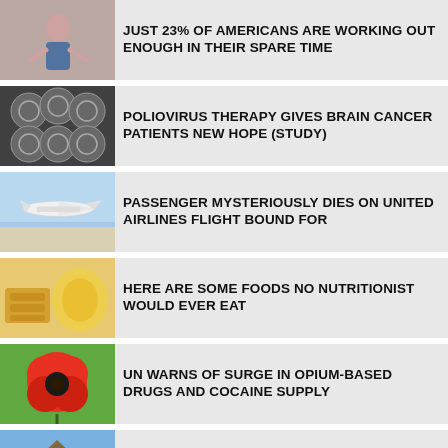JUST 23% OF AMERICANS ARE WORKING OUT ENOUGH IN THEIR SPARE TIME
POLIOVIRUS THERAPY GIVES BRAIN CANCER PATIENTS NEW HOPE (STUDY)
PASSENGER MYSTERIOUSLY DIES ON UNITED AIRLINES FLIGHT BOUND FOR
HERE ARE SOME FOODS NO NUTRITIONIST WOULD EVER EAT
UN WARNS OF SURGE IN OPIUM-BASED DRUGS AND COCAINE SUPPLY
FRENCH JOGGER DETAINED 2 WEEKS FOR ACCIDENTALLY CROSSING BORDER
NORMALIZING PLUS SIZE COULD FUEL OBESITY CRISIS (STUDY)
[Figure (other): reCAPTCHA widget with Privacy - Terms label]